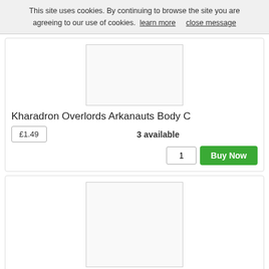This site uses cookies. By continuing to browse the site you are agreeing to our use of cookies.  learn more     close message
[Figure (photo): Product image placeholder for Kharadron Overlords Arkanauts Body C]
Kharadron Overlords Arkanauts Body C
£1.49    3 available
1   Buy Now
[Figure (photo): Product image placeholder for Kharadron Overlords Arkanauts Body D]
Kharadron Overlords Arkanauts Body D
£1.49    3 available